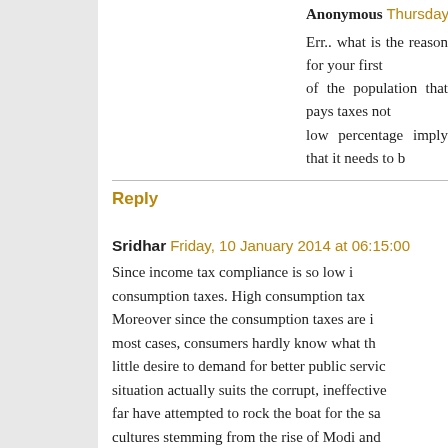Anonymous Thursday, 9 January 20…
Err.. what is the reason for your first of the population that pays taxes not low percentage imply that it needs to b…
Reply
Sridhar Friday, 10 January 2014 at 06:15:00…
Since income tax compliance is so low i… consumption taxes. High consumption tax… Moreover since the consumption taxes are i… most cases, consumers hardly know what th… little desire to demand for better public servic… situation actually suits the corrupt, ineffective… far have attempted to rock the boat for the sa… cultures stemming from the rise of Modi and … in more progressive taxation. But to start with be a retrograde decision.